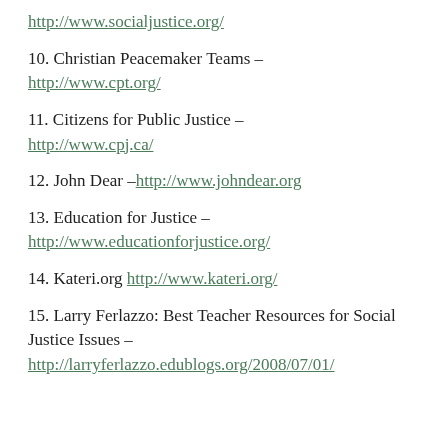http://www.socialjustice.org/
10. Christian Peacemaker Teams – http://www.cpt.org/
11. Citizens for Public Justice – http://www.cpj.ca/
12. John Dear – http://www.johndear.org
13. Education for Justice – http://www.educationforjustice.org/
14. Kateri.org http://www.kateri.org/
15. Larry Ferlazzo: Best Teacher Resources for Social Justice Issues – http://larryferlazzo.edublogs.org/2008/07/01/